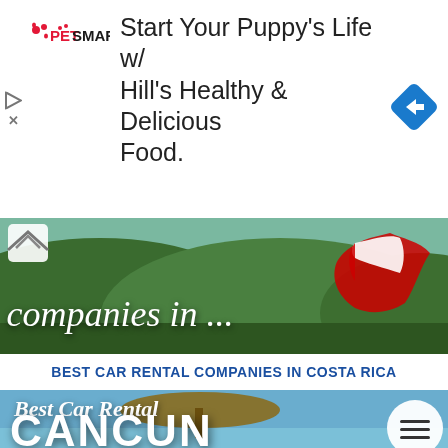[Figure (screenshot): PetSmart advertisement banner: 'Start Your Puppy's Life w/ Hill's Healthy & Delicious Food.' with PetSmart logo and blue arrow icon]
[Figure (photo): Costa Rica landscape photo with map overlay showing Costa Rica flag colors, text 'companies in ...' in italic white script]
BEST CAR RENTAL COMPANIES IN COSTA RICA
[Figure (screenshot): Promotional image for Best Car Rental in Cancun with beach/thatched-umbrella background, hamburger menu button, text 'Best Car Rental' at top and 'CANCUN' in large bold white letters]